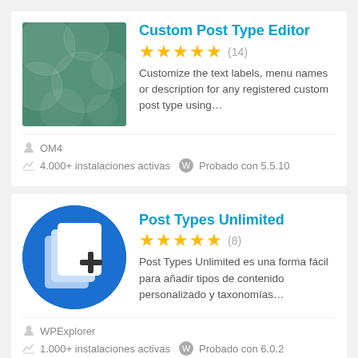[Figure (screenshot): Custom Post Type Editor plugin card with green thumbnail showing overlapping circles]
Custom Post Type Editor
★★★★★ (14)
Customize the text labels, menu names or description for any registered custom post type using…
OM4
4.000+ instalaciones activas  Probado con 5.5.10
[Figure (screenshot): Post Types Unlimited plugin card with blue circle thumbnail showing document pages with plus icon]
Post Types Unlimited
★★★★★ (8)
Post Types Unlimited es una forma fácil para añadir tipos de contenido personalizado y taxonomías…
WPExplorer
1.000+ instalaciones activas  Probado con 6.0.2